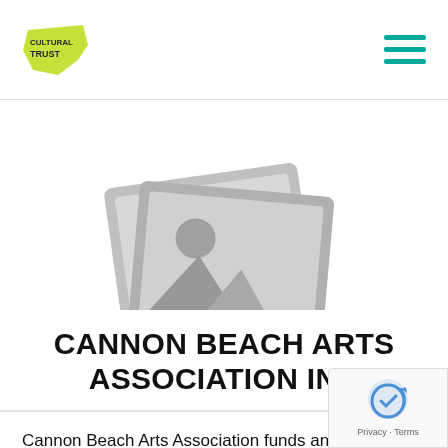[Figure (logo): Oregon Cultural Trust logo — yellow-green Oregon state shape with text CULTURAL TRUST]
[Figure (illustration): Placeholder image icon: two overlapping photo frames with mountain/sun landscape silhouette in grey]
CANNON BEACH ARTS ASSOCIATION INC
Cannon Beach Arts Association funds and enhances the arts, and supports artists in Cannon Beach and the region through education, events, and exhibits....